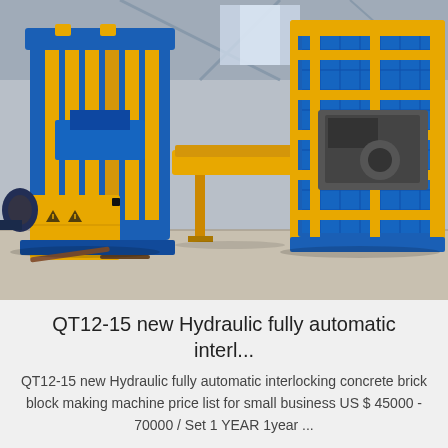[Figure (photo): Industrial hydraulic concrete brick block making machine in a factory setting. The machine is predominantly blue and yellow, featuring a large hydraulic press frame on the left, a conveyor/transport section in the middle, and a large yellow-framed cage/guard structure on the right. The factory has a concrete floor and steel roof structure visible in the background.]
QT12-15 new Hydraulic fully automatic interl...
QT12-15 new Hydraulic fully automatic interlocking concrete brick block making machine price list for small business US $ 45000 - 70000 / Set 1 YEAR 1year ...